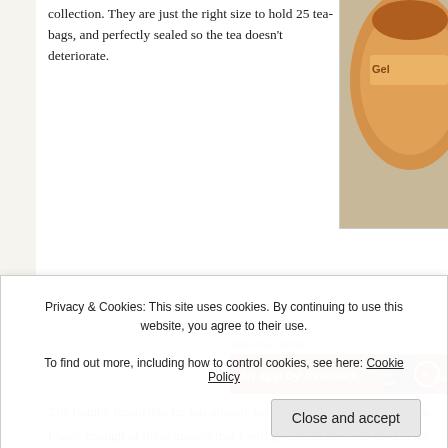collection. They are just the right size to hold 25 tea-bags, and perfectly sealed so the tea doesn't deteriorate.
[Figure (photo): Partial view of an orange jar with label partially visible, showing 'Gel' text, cropped at right edge]
Advertisements
[Figure (other): Advertisement banner with red background reading 'An app by listeners,' with a dark 'Dis-trib-uted' badge and Pocket C... logo]
The Itambé Requeijão jar has already become a kitchen drinking glass.
I have enough of these glasses that I will give a set of six to my ex, for her to use
So nothing gets chucked unnecess
[Figure (photo): Partial view of an Itambé Requeijão jar with orange lid, showing '250g chea' label text at the bottom]
e ha es
pie y; o
will eventually become crème brûlée
passionfruit to graze on. There
Privacy & Cookies: This site uses cookies. By continuing to use this website, you agree to their use.
To find out more, including how to control cookies, see here: Cookie Policy
Close and accept